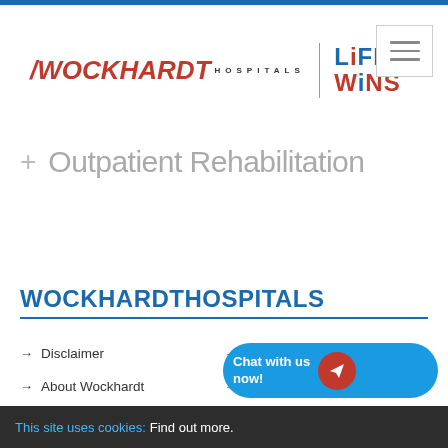[Figure (logo): Wockhardt Hospitals logo with red italic text and 'LIFE WINS' tagline in blue and red]
+ Outpatient Rehabilitation
WOCKHARDTHOSPITALS
→ Disclaimer
→ Whistleblower Policy
→ About Wockhardt
→ Careers
→ Payment T & C
→ CSR P...
This site uses cookies: Find out more.